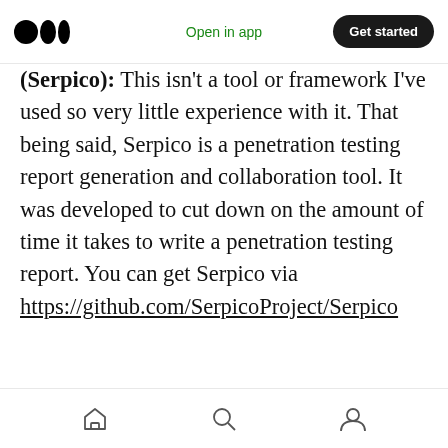Medium logo | Open in app | Get started
(Serpico): This isn't a tool or framework I've used so very little experience with it. That being said, Serpico is a penetration testing report generation and collaboration tool. It was developed to cut down on the amount of time it takes to write a penetration testing report. You can get Serpico via https://github.com/SerpicoProject/Serpico
[Figure (screenshot): Screenshot of the Serpico web interface showing a report management dashboard with a sidebar navigation and a table listing report names, owners, and actions.]
Home | Search | Profile icons